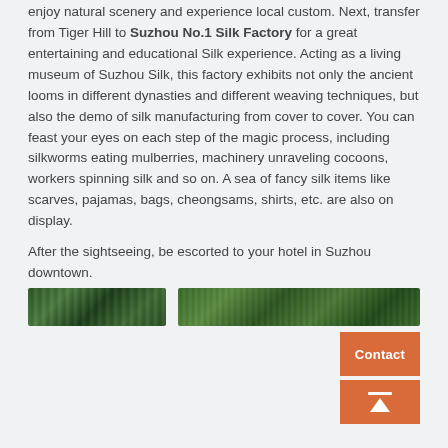enjoy natural scenery and experience local custom. Next, transfer from Tiger Hill to Suzhou No.1 Silk Factory for a great entertaining and educational Silk experience. Acting as a living museum of Suzhou Silk, this factory exhibits not only the ancient looms in different dynasties and different weaving techniques, but also the demo of silk manufacturing from cover to cover. You can feast your eyes on each step of the magic process, including silkworms eating mulberries, machinery unraveling cocoons, workers spinning silk and so on. A sea of fancy silk items like scarves, pajamas, bags, cheongsams, shirts, etc. are also on display.
After the sightseeing, be escorted to your hotel in Suzhou downtown.
[Figure (photo): Two landscape photos side by side: left shows a dark green forested scene, right shows a bright green bamboo or silk-related vegetation scene.]
[Figure (other): Contact button (orange/salmon colored) with white text 'Contact']
[Figure (other): Scroll-to-top button (orange/salmon colored) with white upward arrow and line]